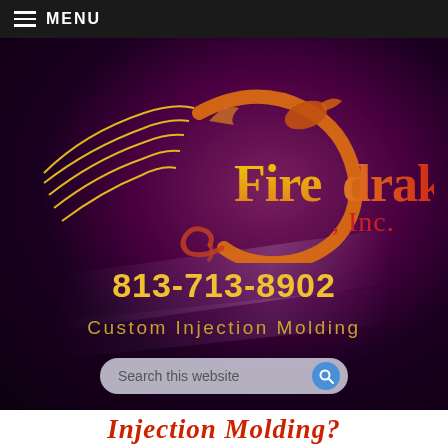≡ MENU
[Figure (logo): Firedrake, Inc. logo — a stylized dragon in orange/gold with tail feathers and the company name 'Firedrake, Inc.' in gradient gold-to-red text on a dark purple background]
813-713-8902
Custom Injection Molding
Search this website
Injection Molding?